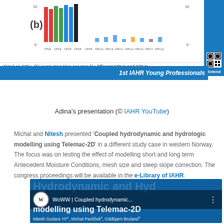[Figure (screenshot): Top strip showing part of a bar chart labeled (b) comparing computing time per step for different CPUs and GPUs, with 1st IAHR Young Professionals blue banner and QR code on the right]
Adina's presentation (© IAHR YouTube)
Michal and Nitesh presented 'Coupled hydrodynamic and hydrologic modelling using Telemac-2D' in a different study case in western Norway. The focus was on testing the effect of modelling short and long term Antecedent Moisture Conditions, mesh size and steep slope correction. The congress proceedings will be available in the e-Library of IAHR.
[Figure (screenshot): Video thumbnail for 'WoWW | Coupled hydrodynamic...' showing title 'Coupled Hydrodynamic and Hydrodynamic modelling using Telemac-2D' with authors Nitesh Godara YP1, Michal Pavlíček2, Oddbjørn Bruland3]